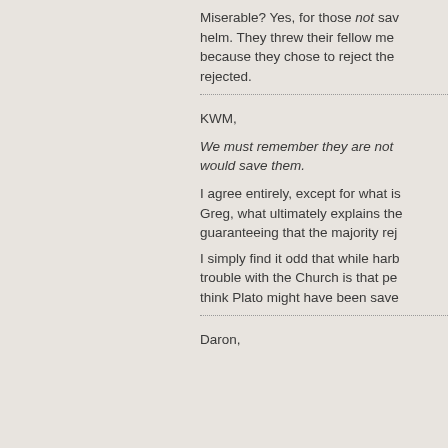Miserable? Yes, for those not sa… helm. They threw their fellow me… because they chose to reject the… rejected.
KWM,
We must remember they are not … would save them.
I agree entirely, except for what i… Greg, what ultimately explains th… guaranteeing that the majority rej…
I simply find it odd that while harb… trouble with the Church is that pe… think Plato might have been save…
Daron,